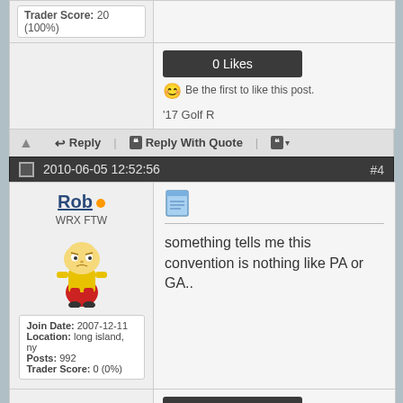Trader Score: 20 (100%)
0 Likes
Be the first to like this post.
'17 Golf R
Reply | Reply With Quote
2010-06-05 12:52:56 #4
Rob
WRX FTW
Join Date: 2007-12-11 Location: long island, ny Posts: 992 Trader Score: 0 (0%)
something tells me this convention is nothing like PA or GA..
0 Likes